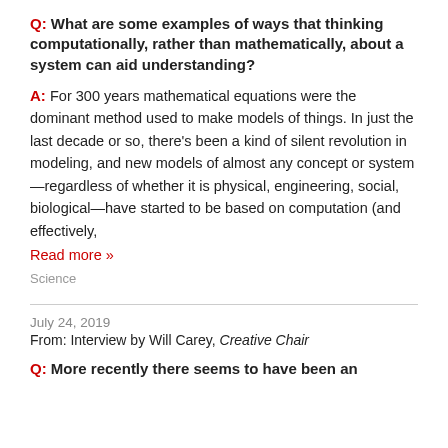Q: What are some examples of ways that thinking computationally, rather than mathematically, about a system can aid understanding?
A: For 300 years mathematical equations were the dominant method used to make models of things. In just the last decade or so, there's been a kind of silent revolution in modeling, and new models of almost any concept or system—regardless of whether it is physical, engineering, social, biological—have started to be based on computation (and effectively,
Read more »
Science
July 24, 2019
From: Interview by Will Carey, Creative Chair
Q: More recently there seems to have been an